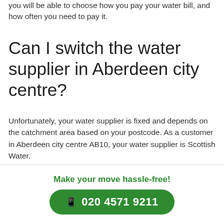you will be able to choose how you pay your water bill, and how often you need to pay it.
Can I switch the water supplier in Aberdeen city centre?
Unfortunately, your water supplier is fixed and depends on the catchment area based on your postcode. As a customer in Aberdeen city centre AB10, your water supplier is Scottish Water.
Since April 2017, business water customers have been able to switch water suppliers. You can find out if your
Make your move hassle-free!
020 4571 9211